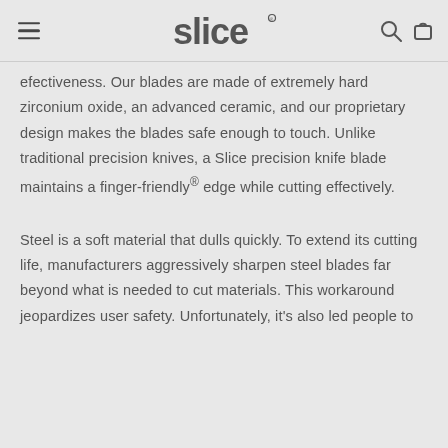slice
efectiveness. Our blades are made of extremely hard zirconium oxide, an advanced ceramic, and our proprietary design makes the blades safe enough to touch. Unlike traditional precision knives, a Slice precision knife blade maintains a finger-friendly® edge while cutting effectively.
Steel is a soft material that dulls quickly. To extend its cutting life, manufacturers aggressively sharpen steel blades far beyond what is needed to cut materials. This workaround jeopardizes user safety. Unfortunately, it's also led people to